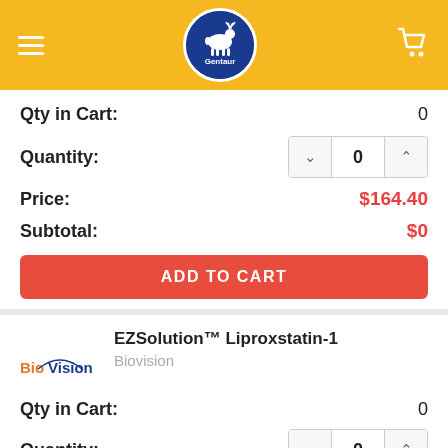[Figure (logo): Gentaur company logo: blue circle with white deer/elk and text Gentaur on yellow header bar]
Qty in Cart: 0
Quantity: 0
Price: $164.40
Subtotal: $0
ADD TO CART
EZSolution™ Liproxstatin-1
Biovision
Qty in Cart: 0
Quantity: 0